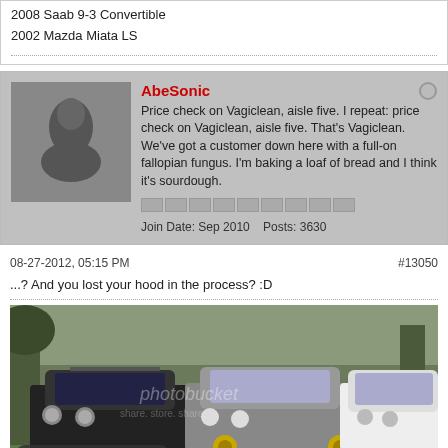2008 Saab 9-3 Convertible
2002 Mazda Miata LS
AbeSonic
Price check on Vagiclean, aisle five. I repeat: price check on Vagiclean, aisle five. That's Vagiclean. We've got a customer down here with a full-on fallopian fungus. I'm baking a loaf of bread and I think it's sourdough.
Join Date: Sep 2010    Posts: 3630
08-27-2012, 05:15 PM
#13050
...? And you lost your hood in the process? :D
[Figure (photo): Photo of multiple cars parked on grass at a car meet, with trees in background. Watermark 'photobucket' visible. Text overlay at bottom reads 'ABESONIC & FRIENDS']
out dated sig is out dated
Project thread  Facebook